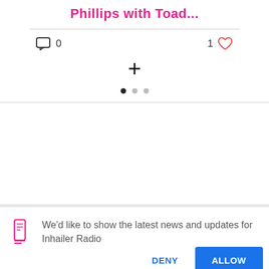Phillips with Toad...
[Figure (infographic): Comment icon with count 0, heart/like icon with count 1, plus button, and pagination dots (3 dots, first filled)]
We'd like to show the latest news and updates for Inhailer Radio
DENY
ALLOW